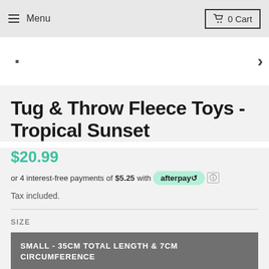Menu  0 Cart
Tug & Throw Fleece Toys - Tropical Sunset
$20.99
or 4 interest-free payments of $5.25 with afterpay
Tax included.
SIZE
SMALL - 35CM TOTAL LENGTH & 7CM CIRCUMFERENCE